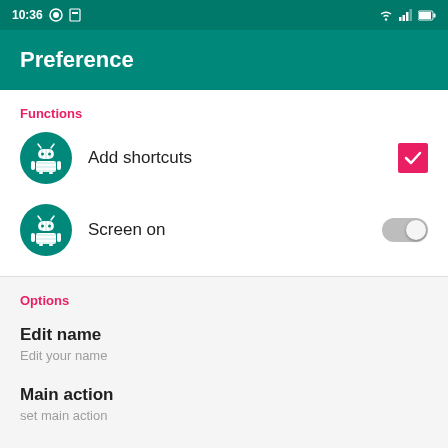10:36
Preference
Functions
Add shortcuts
Screen on
Options
Edit name
Edit your name
Main action
set main action
Go to android.com
browse android.com